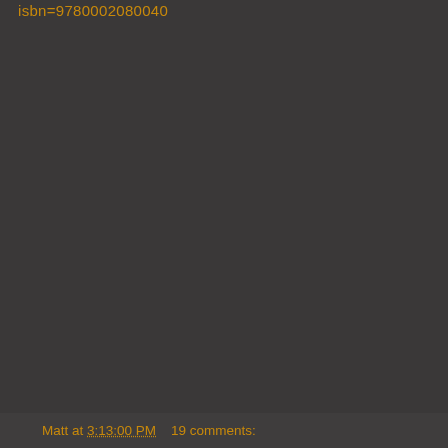isbn=9780002080040
Matt at 3:13:00 PM    19 comments: